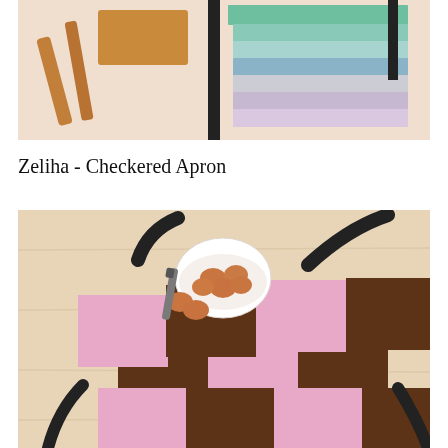[Figure (photo): Top portion of a product photo showing color swatches, wooden utensils, and fabric on a light peach background]
Zeliha - Checkered Apron
[Figure (photo): A pink and brown checkered apron laid flat on a light wood surface, with a bowl of brown eggs and a grey marker nearby]